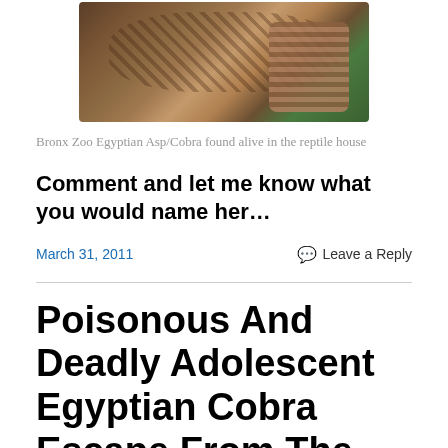[Figure (photo): Close-up photo of an Egyptian Asp/Cobra snake, showing its scaled body with brown and copper tones, partially surrounded by green leaves.]
Bronx Zoo Egyptian Asp/Cobra found alive in the reptile house
Comment and let me know what you would name her…
March 31, 2011
Leave a Reply
Poisonous And Deadly Adolescent Egyptian Cobra Escape From The Bronx Zoo